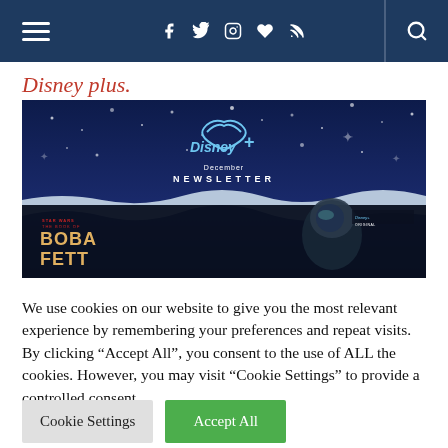Navigation bar with hamburger menu, social icons (f, twitter, instagram, heart, rss), and search
Disney plus.
[Figure (photo): Disney+ December Newsletter promotional image featuring 'The Book of Boba Fett' Star Wars series. Dark blue snowy background with Disney+ logo and text 'December NEWSLETTER'. Lower portion shows a dark banner with 'The Book of Boba Fett' title text and a helmeted character.]
We use cookies on our website to give you the most relevant experience by remembering your preferences and repeat visits. By clicking “Accept All”, you consent to the use of ALL the cookies. However, you may visit “Cookie Settings” to provide a controlled consent.
Cookie Settings   Accept All